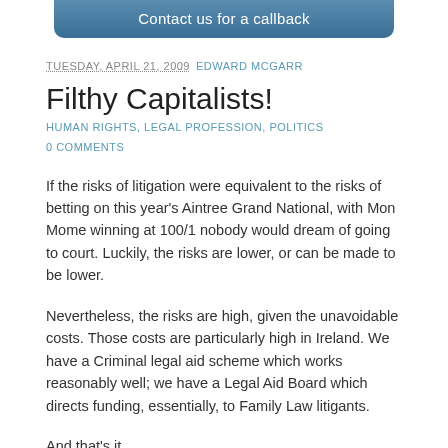[Figure (other): Blue rounded button bar with text 'Contact us for a callback']
TUESDAY, APRIL 21, 2009  EDWARD MCGARR
Filthy Capitalists!
HUMAN RIGHTS, LEGAL PROFESSION, POLITICS
0 COMMENTS
If the risks of litigation were equivalent to the risks of betting on this year's Aintree Grand National, with Mon Mome winning at 100/1 nobody would dream of going to court. Luckily, the risks are lower, or can be made to be lower.
Nevertheless, the risks are high, given the unavoidable costs. Those costs are particularly high in Ireland. We have a Criminal legal aid scheme which works reasonably well; we have a Legal Aid Board which directs funding, essentially, to Family Law litigants.
And that's it.
Neither the Government nor the Rules Committee of the Superior